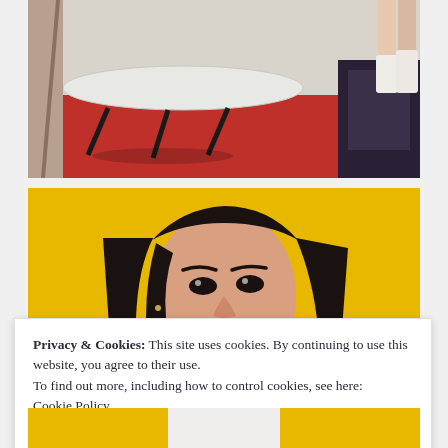[Figure (photo): Top portion of a room scene: a white round table with thin black legs, a red carpet/floor, and someone's legs wearing white ankle boots visible at right. Dark chair or furniture visible at far right.]
[Figure (photo): Portrait selfie of a young woman with long dark hair against a bright yellow background, wearing a white top and a thin necklace, looking slightly to the side.]
Privacy & Cookies: This site uses cookies. By continuing to use this website, you agree to their use.
To find out more, including how to control cookies, see here:
Cookie Policy
Close and accept
[Figure (photo): Partial photo visible at very bottom of page, appears to be yellow background continuing.]